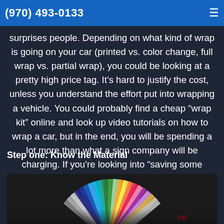(970) 493-0133
surprises people. Depending on what kind of wrap is going on your car (printed vs. color change, full wrap vs. partial wrap), you could be looking at a pretty high price tag. It’s hard to justify the cost, unless you understand the effort put into wrapping a vehicle. You could probably find a cheap “wrap kit” online and look up video tutorials on how to wrap a car, but in the end, you will be spending a lot more than what a sign company will be charging. If you’re looking into “saving some money” and wrapping a vehicle yourself, keep reading!
Step one: Know the Material
[Figure (photo): A fan of colorful 3M vinyl wrap color swatches spread out, showing many colors including blues, greens, pinks, yellows, and metallic tones, with 3M branding visible.]